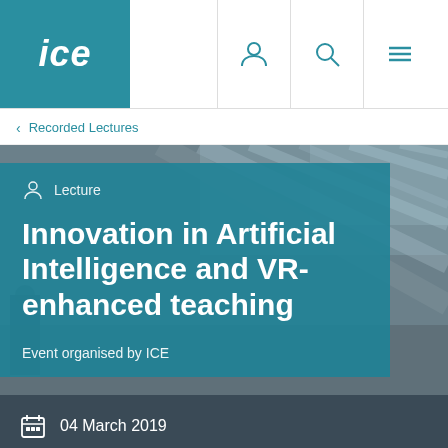ice
Recorded Lectures
[Figure (screenshot): Hero banner image of an architectural interior (glass ceiling/atrium) with a teal semi-transparent overlay containing lecture information: 'Lecture', 'Innovation in Artificial Intelligence and VR-enhanced teaching', 'Event organised by ICE']
04 March 2019
17:30 - 19:30 GMT